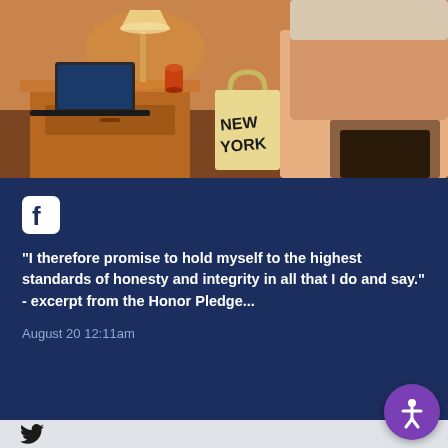[Figure (photo): A college dorm room showing a wooden desk with a lamp, orange mug, laptop, and a tote bag with 'NEW YORK' text leaning against a bed with orange/peach bedding.]
“I therefore promise to hold myself to the highest standards of honesty and integrity in all that I do and say.” - excerpt from the Honor Pledge...
August 20 12:11am
[Figure (logo): Twitter bird icon in the bottom section]